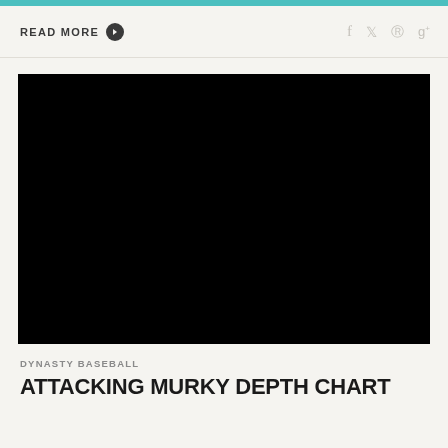READ MORE
[Figure (photo): Baseball play at home plate: Milwaukee Brewers player Santana #16 scoring while Pittsburgh Pirates catcher attempts a tag, with a Brewers teammate celebrating in background, crowd visible in stands]
DYNASTY BASEBALL
ATTACKING MURKY DEPTH CHART